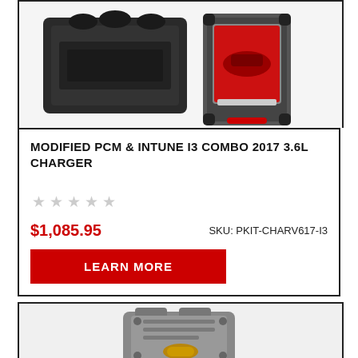[Figure (photo): Product image of Modified PCM and Intune i3 device combo - black hardware module with a handheld touchscreen tuner showing a red car logo]
MODIFIED PCM & INTUNE I3 COMBO 2017 3.6L CHARGER
[Figure (other): Five empty grey star rating icons indicating no reviews]
$1,085.95
SKU: PKIT-CHARV617-I3
LEARN MORE
[Figure (photo): Product image partially visible at bottom - appears to be a grey automotive PCM or transmission control module component]